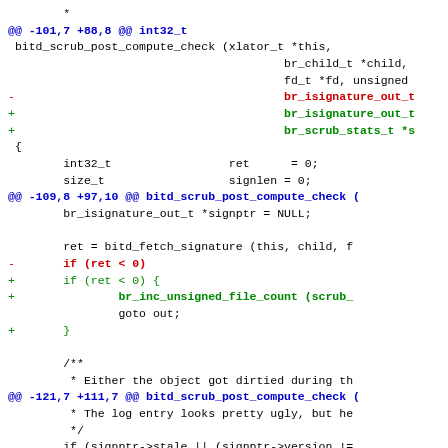[Figure (screenshot): A code diff screenshot showing changes to bitd_scrub_post_compute_check function, with removed lines in red and added lines in green, hunk headers in blue, and context lines in black, using monospace font.]